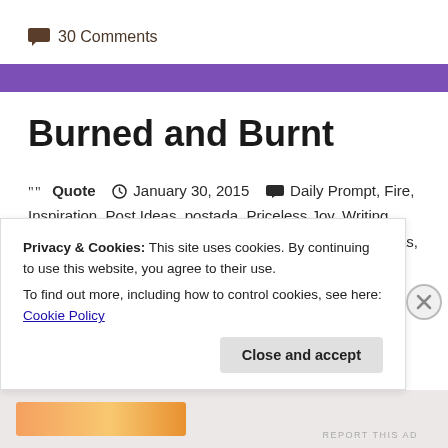30 Comments
Burned and Burnt
Quote  January 30, 2015  Daily Prompt, Fire, Inspiration, Post Ideas, postada, Priceless Joy, Writing, Writing Prompts  Daily Prompt, Inspiration, Post Ideas,
Privacy & Cookies: This site uses cookies. By continuing to use this website, you agree to their use. To find out more, including how to control cookies, see here: Cookie Policy
Close and accept